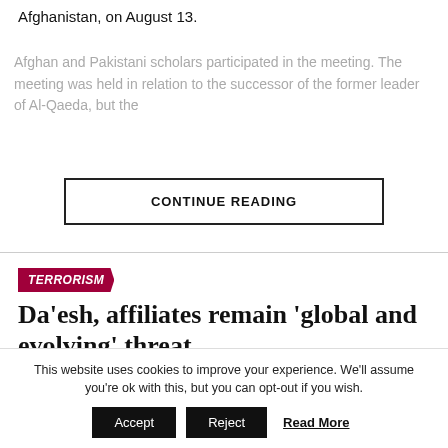Afghanistan, on August 13.
Afghan and Pakistani scholars participated in the meeting. The meeting was held in relation to the successor of the former leader of Al-Qaeda, but the ...
CONTINUE READING
TERRORISM
Da'esh, affiliates remain 'global and evolving' threat
Published 2 weeks ago on August 11, 2022
This website uses cookies to improve your experience. We'll assume you're ok with this, but you can opt-out if you wish.